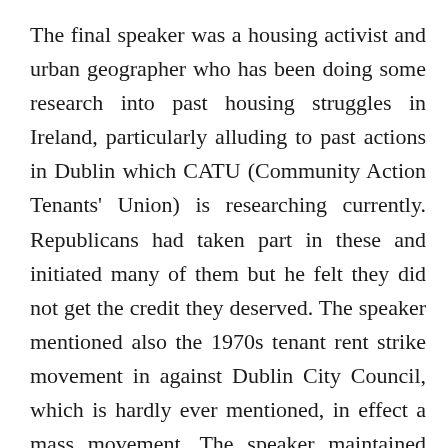The final speaker was a housing activist and urban geographer who has been doing some research into past housing struggles in Ireland, particularly alluding to past actions in Dublin which CATU (Community Action Tenants' Union) is researching currently. Republicans had taken part in these and initiated many of them but he felt they did not get the credit they deserved. The speaker mentioned also the 1970s tenant rent strike movement in against Dublin City Council, which is hardly ever mentioned, in effect a mass movement. The speaker maintained that we need to understand the different categories of empty houses so that we can understand the causes and address them but ultimately the cause is the capitalist system. The speaker called for